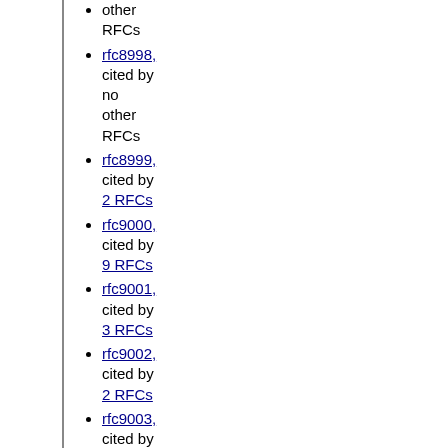cited by no other RFCs
rfc8998, cited by no other RFCs
rfc8999, cited by 2 RFCs
rfc9000, cited by 9 RFCs
rfc9001, cited by 3 RFCs
rfc9002, cited by 2 RFCs
rfc9003, cited by no other RFCs
rfc9004, cited by no other RFCs